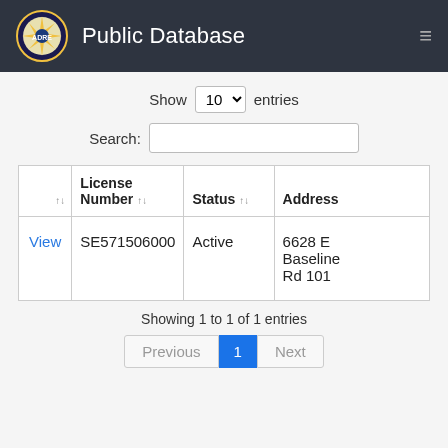Public Database
Show 10 entries
Search:
| ↑↓ | License Number ↑↓ | Status ↑↓ | Address |
| --- | --- | --- | --- |
| View | SE571506000 | Active | 6628 E Baseline Rd 101 |
Showing 1 to 1 of 1 entries
Previous 1 Next